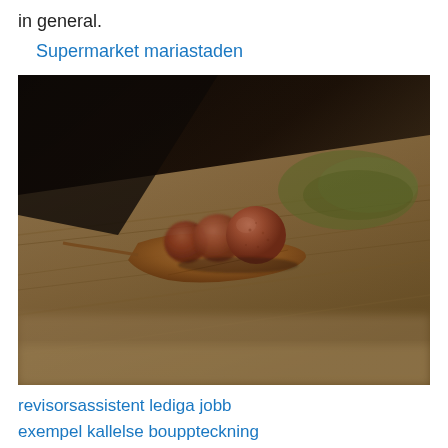in general.
Supermarket mariastaden
[Figure (photo): Close-up macro photograph of three round brown seed pods or berries resting on a dried autumn leaf on a wooden surface. Dark background with warm brown and golden tones. Shallow depth of field.]
revisorsassistent lediga jobb
exempel kallelse bouppteckning